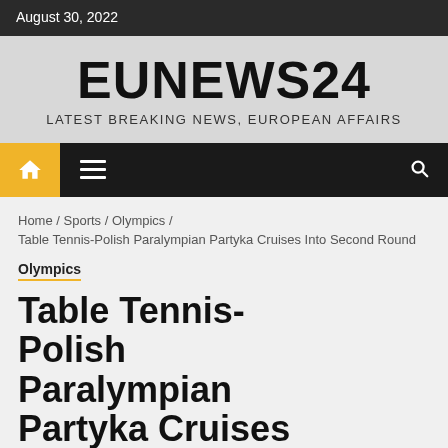August 30, 2022
EUNEWS24
LATEST BREAKING NEWS, EUROPEAN AFFAIRS
Home / Sports / Olympics / Table Tennis-Polish Paralympian Partyka Cruises Into Second Round
Olympics
Table Tennis-Polish Paralympian Partyka Cruises Into Second